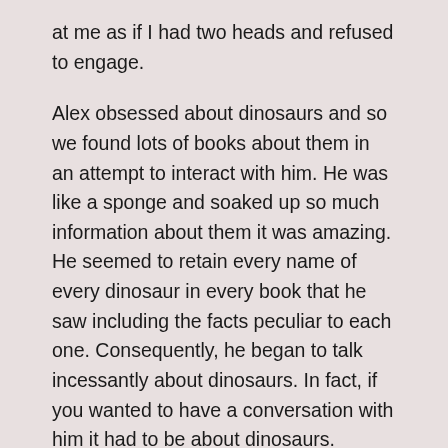at me as if I had two heads and refused to engage.
Alex obsessed about dinosaurs and so we found lots of books about them in an attempt to interact with him.  He was like a sponge and soaked up so much information about them it was amazing.  He seemed to retain every name of every dinosaur in every book that he saw including the facts peculiar to each one.  Consequently, he began to talk incessantly about dinosaurs.  In fact, if you wanted to have a conversation with him it had to be about dinosaurs.  Otherwise, he was completely uninterested in you or anything you had to say.  Riding in a car on long trips was particularly challenging as he talked nonstop about dinosaurs to the point that I would have to say, “Alex, we are tired of talking about dinosaurs right now.  So let's not talk about them for 10 minutes.”  Alex would stare at the clock until exactly 10 minutes had passed at which time he would begin – right on cue – talking about dinosaurs